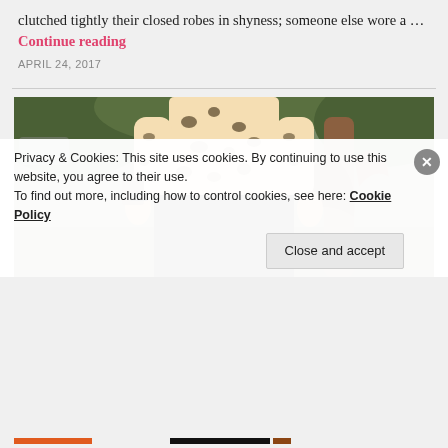clutched tightly their closed robes in shyness; someone else wore a … Continue reading
APRIL 24, 2017
[Figure (photo): Outdoor photo of a person wearing a cream/beige leopard-print long-sleeve top and a black midi skirt, standing outdoors near a tree with green grass and foliage in the background.]
Privacy & Cookies: This site uses cookies. By continuing to use this website, you agree to their use.
To find out more, including how to control cookies, see here: Cookie Policy
Close and accept